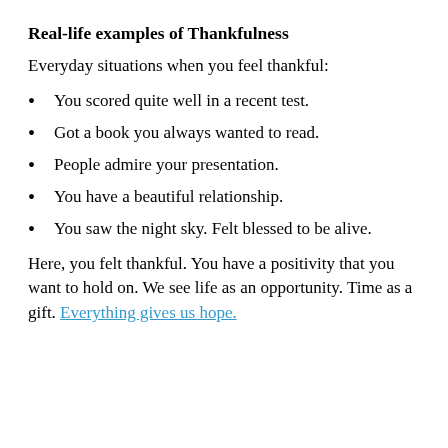Real-life examples of Thankfulness
Everyday situations when you feel thankful:
You scored quite well in a recent test.
Got a book you always wanted to read.
People admire your presentation.
You have a beautiful relationship.
You saw the night sky. Felt blessed to be alive.
Here, you felt thankful. You have a positivity that you want to hold on. We see life as an opportunity. Time as a gift. Everything gives us hope.